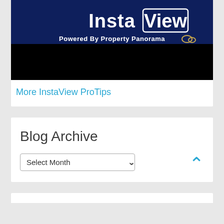[Figure (screenshot): InstaView banner with dark navy and black background. Shows 'InstaView' logo text with 'Powered By Property Panorama' subtitle and a small icon.]
More InstaView ProTips
Blog Archive
Select Month